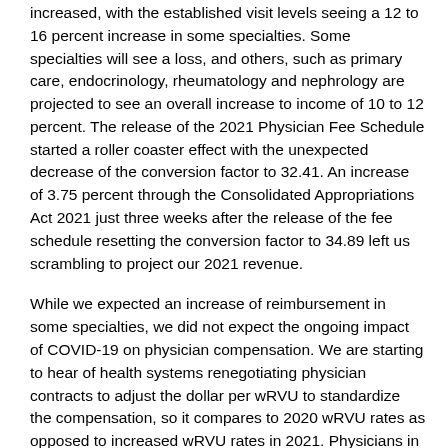increased, with the established visit levels seeing a 12 to 16 percent increase in some specialties. Some specialties will see a loss, and others, such as primary care, endocrinology, rheumatology and nephrology are projected to see an overall increase to income of 10 to 12 percent. The release of the 2021 Physician Fee Schedule started a roller coaster effect with the unexpected decrease of the conversion factor to 32.41. An increase of 3.75 percent through the Consolidated Appropriations Act 2021 just three weeks after the release of the fee schedule resetting the conversion factor to 34.89 left us scrambling to project our 2021 revenue.
While we expected an increase of reimbursement in some specialties, we did not expect the ongoing impact of COVID-19 on physician compensation. We are starting to hear of health systems renegotiating physician contracts to adjust the dollar per wRVU to standardize the compensation, so it compares to 2020 wRVU rates as opposed to increased wRVU rates in 2021. Physicians in the private sector will have control over their own destiny, depending on specialty. Some have sustained production through offering new services, such as COVID-19 testing, vaccine administration or new ancillary services. Some practices are functioning close to normal, while others are still restricting services. Telemedicine has been effective in serving the patients, but patients not entering the office